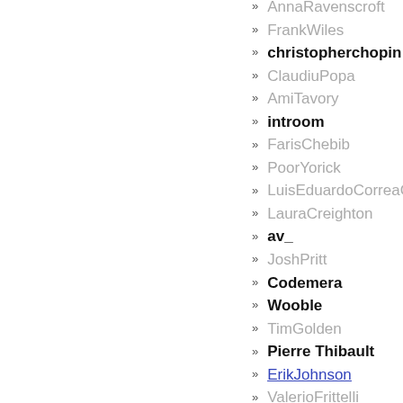AnnaRavenscroft
FrankWiles
christopherchopin
ClaudiuPopa
AmiTavory
introom
FarisChebib
PoorYorick
LuisEduardoCorreaGalleg
LauraCreighton
av_
JoshPritt
Codemera
Wooble
TimGolden
Pierre Thibault
ErikJohnson
ValerioFrittelli